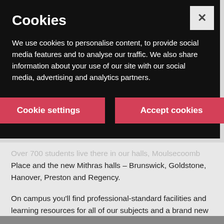Cookies
We use cookies to personalise content, to provide social media features and to analyse our traffic. We also share information about your use of our site with our social media, advertising and analytics partners.
Cookie settings | Accept cookies
Over 700 students live there in our halls, Moulsecoomb Place and the new Mithras halls – Brunswick, Goldstone, Hanover, Preston and Regency.
On campus you'll find professional-standard facilities and learning resources for all of our subjects and a brand new academic building Elm House, alongside the library, student centre, fitness facilities and the Students' Union.
Moulsecoomb has easy access to buses and trains and to all the exciting things happening in our home city.
[Figure (photo): Partial photo strip visible at bottom of page]